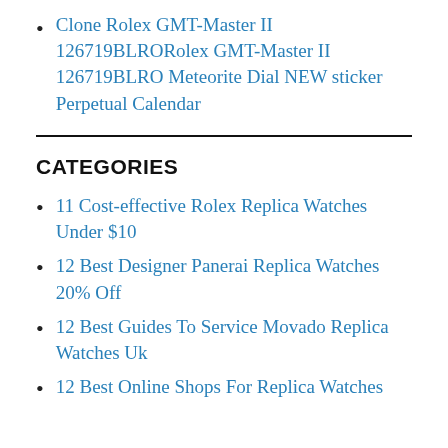Clone Rolex GMT-Master II 126719BLRORolex GMT-Master II 126719BLRO Meteorite Dial NEW sticker Perpetual Calendar
CATEGORIES
11 Cost-effective Rolex Replica Watches Under $10
12 Best Designer Panerai Replica Watches 20% Off
12 Best Guides To Service Movado Replica Watches Uk
12 Best Online Shops For Replica Watches